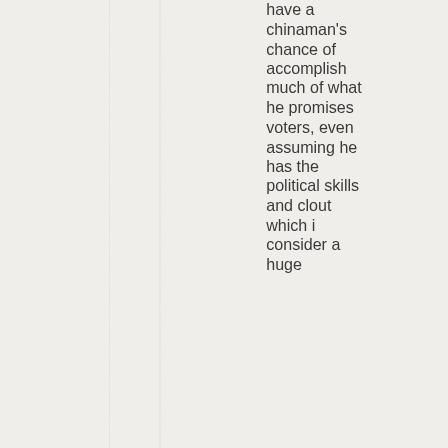have a chinaman's chance of accomplish much of what he promises voters, even assuming he has the political skills and clout which i consider a huge